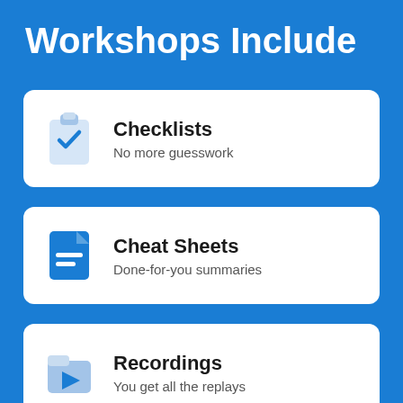Workshops Include
Checklists — No more guesswork
Cheat Sheets — Done-for-you summaries
Recordings — You get all the replays